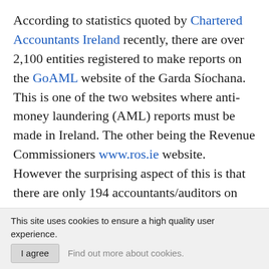According to statistics quoted by Chartered Accountants Ireland recently, there are over 2,100 entities registered to make reports on the GoAML website of the Garda Síochana. This is one of the two websites where anti-money laundering (AML) reports must be made in Ireland. The other being the Revenue Commissioners www.ros.ie website. However the surprising aspect of this is that there are only 194 accountants/auditors on this list.
Each of these firms should be registered on the GoAML site in order to make reports of suspicious transactions involving money laundering. In 2020 there were over 29,000 reports of money laundering suspicions from many [continues below]
This site uses cookies to ensure a high quality user experience. I agree Find out more about cookies.